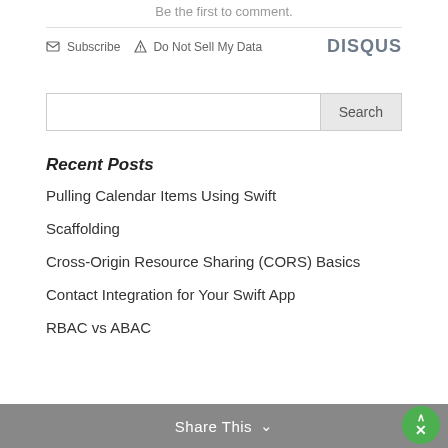Be the first to comment.
Subscribe  Do Not Sell My Data   DISQUS
Search
Recent Posts
Pulling Calendar Items Using Swift
Scaffolding
Cross-Origin Resource Sharing (CORS) Basics
Contact Integration for Your Swift App
RBAC vs ABAC
Share This  ∨